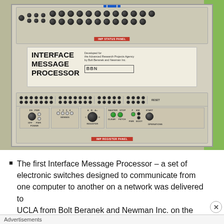[Figure (photo): Photograph of the first Interface Message Processor (IMP), showing two control panels with knobs, switches, LEDs, and a label plate reading 'INTERFACE MESSAGE PROCESSOR' with a BBN logo. A red strip labels the top panel and another labels the bottom register panel.]
The first Interface Message Processor – a set of electronic switches designed to communicate from one computer to another on a network was delivered to UCLA from Bolt Beranek and Newman Inc. on the first
Advertisements